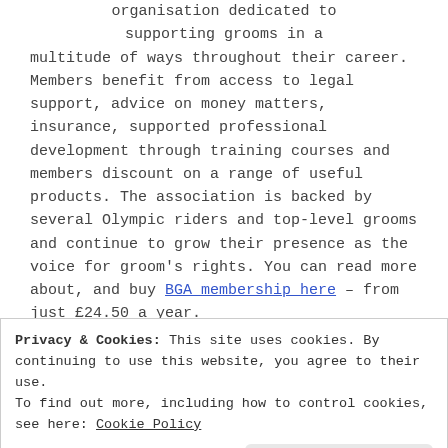organisation dedicated to supporting grooms in a multitude of ways throughout their career. Members benefit from access to legal support, advice on money matters, insurance, supported professional development through training courses and members discount on a range of useful products. The association is backed by several Olympic riders and top-level grooms and continue to grow their presence as the voice for groom's rights. You can read more about, and buy BGA membership here – from just £24.50 a year.
Privacy & Cookies: This site uses cookies. By continuing to use this website, you agree to their use. To find out more, including how to control cookies, see here: Cookie Policy
Close and accept
Inspirational